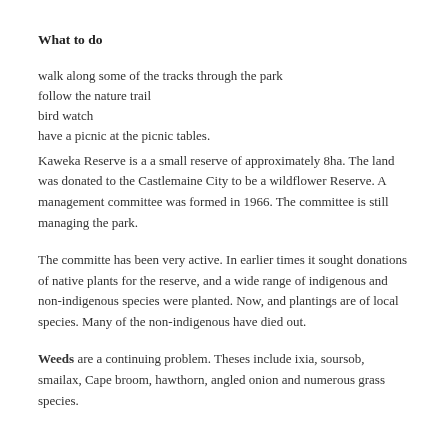What to do
walk along some of the tracks through the park
follow the nature trail
bird watch
have a picnic at the picnic tables.
Kaweka Reserve is a a small reserve of approximately 8ha. The land was donated to the Castlemaine City to be a wildflower Reserve. A management committee was formed in 1966. The committee is still managing the park.
The committe has been very active. In earlier times it sought donations of native plants for the reserve, and a wide range of indigenous and non-indigenous species were planted. Now, and plantings are of local species. Many of the non-indigenous have died out.
Weeds are a continuing problem. Theses include ixia, soursob, smailax, Cape broom, hawthorn, angled onion and numerous grass species.